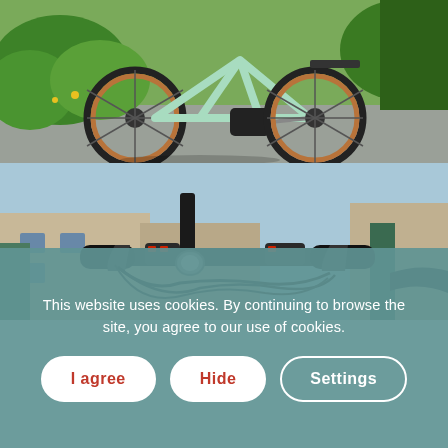[Figure (photo): Close-up photo of a mint/light green electric bicycle showing the rear wheel with brown sidewall tires, black derailleur, and mid-drive motor, against a background of green plants and pavement.]
[Figure (photo): Close-up photo of bicycle handlebars showing black grips, brake levers, cables, and control units, with a blurred European street scene in the background.]
This website uses cookies. By continuing to browse the site, you agree to our use of cookies.
I agree
Hide
Settings